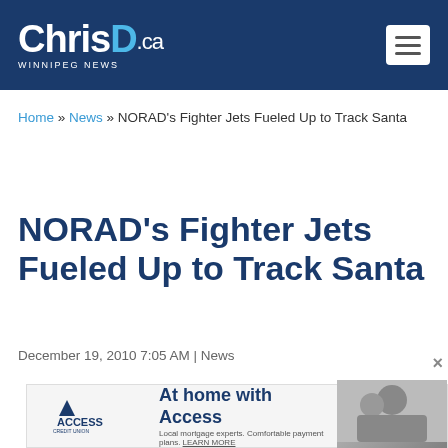[Figure (logo): ChrisD.ca Winnipeg News logo on dark blue header bar with hamburger menu button]
Home » News » NORAD's Fighter Jets Fueled Up to Track Santa
NORAD's Fighter Jets Fueled Up to Track Santa
December 19, 2010 7:05 AM | News
[Figure (infographic): Social sharing icons row: Facebook, Twitter, Google+, Email, LinkedIn circles, plus Access Credit Union advertisement banner at bottom reading 'At home with Access']